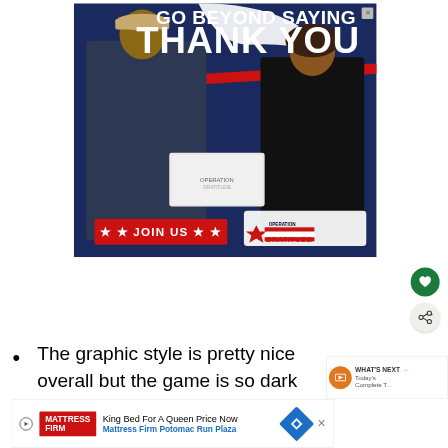[Figure (photo): Advertisement banner showing a military service member in navy uniform receiving a package from a woman, with text 'GO BEYOND SAYING THANK YOU', 'JOIN US' button, and Operation Gratitude logo on a dark blue patriotic background]
The graphic style is pretty nice overall but the game is so dark at times that really appreciate it. At times I had a hard
[Figure (other): TV Schedule widget showing 'WHAT'S NEXT' and 'Today's Complete T...' with orange TV icon]
[Figure (other): Bottom advertisement bar: Mattress Firm - King Bed For A Queen Price Now, Mattress Firm Potomac Run Plaza]